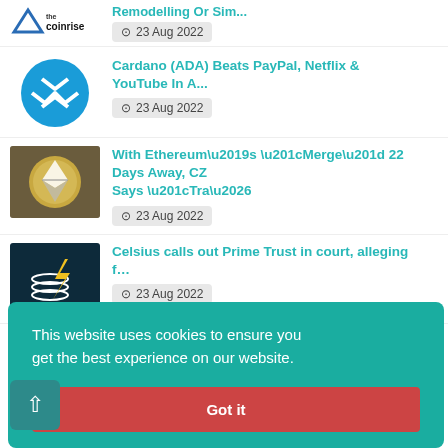[Figure (logo): CoinRise logo - blue triangle with coins icon and 'the coinrise' text]
23 Aug 2022
[Figure (logo): Cardano (ADA) blue circular logo with stylized arrow/chevron design]
Cardano (ADA) Beats PayPal, Netflix & YouTube In A...
23 Aug 2022
[Figure (photo): Photo of an Ethereum coin on a denim fabric background]
With Ethereum’s “Merge” 22 Days Away, CZ Says “Tra…
23 Aug 2022
[Figure (logo): Dark background logo with white lightning bolt and stacked coins graphic in gold/yellow]
Celsius calls out Prime Trust in court, alleging f…
23 Aug 2022
wsuit Against
This website uses cookies to ensure you get the best experience on our website.
Got it